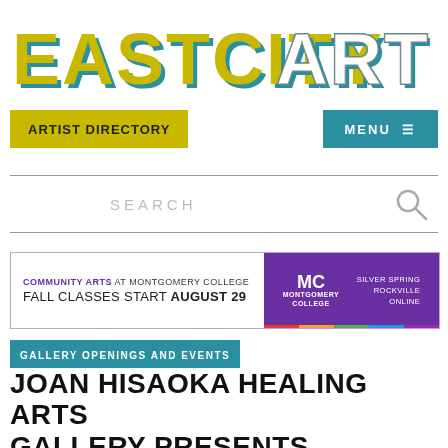[Figure (logo): EastCityArt logo in bold block letters, with EASTCITY in yellow/gold and ART in teal/white with drop shadow effect]
ARTIST DIRECTORY
MENU ≡
SEARCH
[Figure (infographic): Advertisement banner for Montgomery College Community Arts. Left white section: 'COMMUNITY ARTS AT MONTGOMERY COLLEGE / FALL CLASSES START AUGUST 29'. Right purple section: MC logo, Montgomery College, SILVER SPRING / ROCKVILLE / ONLINE. Color strip at bottom.]
GALLERY OPENINGS AND EVENTS
JOAN HISAOKA HEALING ARTS GALLERY PRESENTS OUTSIDE-